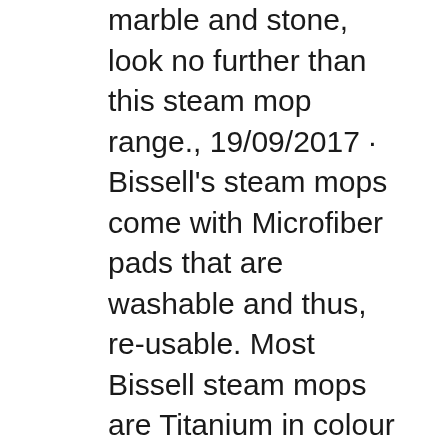marble and stone, look no further than this steam mop range., 19/09/2017 · Bissell's steam mops come with Microfiber pads that are washable and thus, re-usable. Most Bissell steam mops are Titanium in colour while some coming in a white design. Bissell Steam Mop Select 23V8F. To start us off, the Bissell Steam Mop Select model is a triangle steam mop that is claimed to have easy manoeuvrability under and around.
BISSELL PowerFresh 1940 Review Pros Cons and Verdict
BISSELL PowerFresh 1940 Review Pros Cons and Verdict. Product description